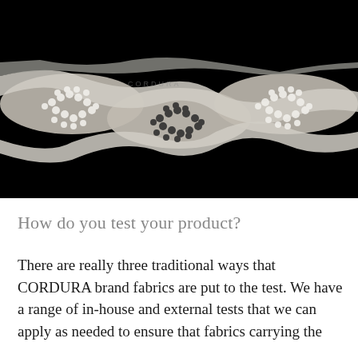[Figure (photo): Close-up black and white microscope or macro image of CORDURA fabric weave structure, showing cross-section of woven fibers with circular fiber bundles visible in a wave pattern against a black background.]
How do you test your product?
There are really three traditional ways that CORDURA brand fabrics are put to the test. We have a range of in-house and external tests that we can apply as needed to ensure that fabrics carrying the